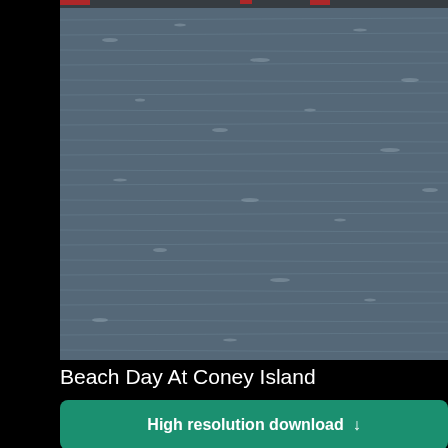[Figure (photo): Photo of water/ocean surface with ripples at Coney Island beach, dark background, partial view]
Beach Day At Coney Island
High resolution download ↓
[Figure (photo): Partial dark photo strip at bottom of main content area]
[Figure (logo): Shopify logo — shopping bag icon with 'S' and 'shopify' wordmark in white on green background]
Need an online store for your business?
Start free trial